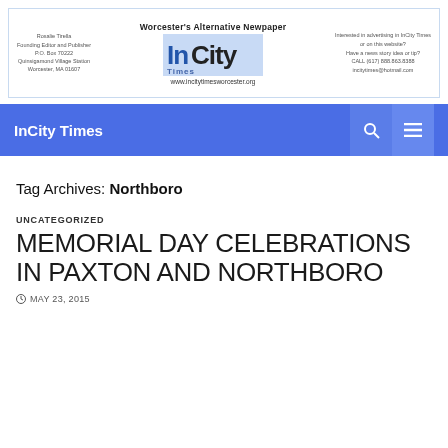[Figure (logo): InCity Times newspaper banner/logo header with text 'Worcester's Alternative Newpaper', address info on left, logo in center, and contact info on right. URL: www.incitytimesworcester.org]
InCity Times
Tag Archives: Northboro
UNCATEGORIZED
MEMORIAL DAY CELEBRATIONS IN PAXTON AND NORTHBORO
MAY 23, 2015